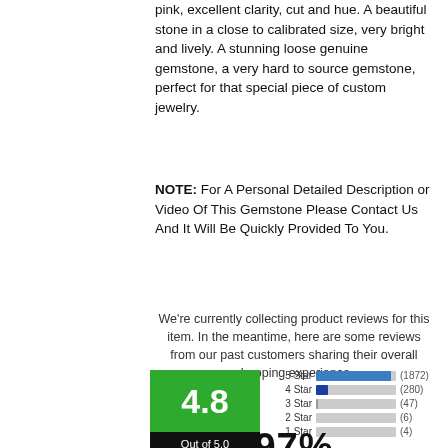pink, excellent clarity, cut and hue. A beautiful stone in a close to calibrated size, very bright and lively. A stunning loose genuine gemstone, a very hard to source gemstone, perfect for that special piece of custom jewelry.
NOTE: For A Personal Detailed Description or Video Of This Gemstone Please Contact Us And It Will Be Quickly Provided To You.
We're currently collecting product reviews for this item. In the meantime, here are some reviews from our past customers sharing their overall shopping experience.
[Figure (bar-chart): Star Ratings]
97%